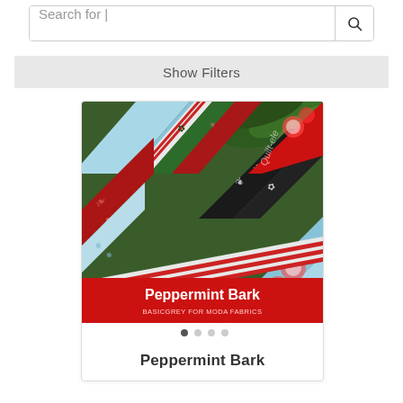Search for |
Show Filters
[Figure (photo): Colorful Christmas-themed quilt fabric strips fanned out, featuring red, green, black, white, and light blue patterns with peppermint and holiday motifs. Red label at bottom reads 'Peppermint Bark' and 'BASICGREY FOR MODA FABRICS'. Watermark text 'Quilt-ele' visible on upper right.]
Peppermint Bark